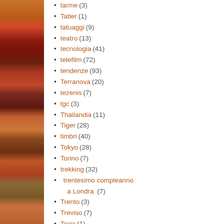[Figure (photo): Decorative left sidebar with warm red, orange and brown tones, showing fabric or floral textures]
tarme (3)
Tatler (1)
tatuaggi (9)
teatro (13)
tecnologia (41)
telefilm (72)
tendenze (93)
Terranova (20)
tezenis (7)
tgc (3)
Thailandia (11)
Tiger (28)
timbri (40)
Tokyo (28)
Torino (7)
trekking (32)
trentesimo compleanno a Londra (7)
Trento (3)
Treviso (7)
Troia (1)
Troisi (3)
trucchi (90)